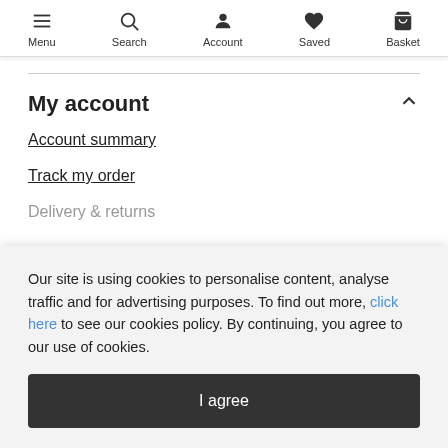Menu | Search | Account | Saved | Basket
My account
Account summary
Track my order
Delivery & returns
Our site is using cookies to personalise content, analyse traffic and for advertising purposes. To find out more, click here to see our cookies policy. By continuing, you agree to our use of cookies.
I agree